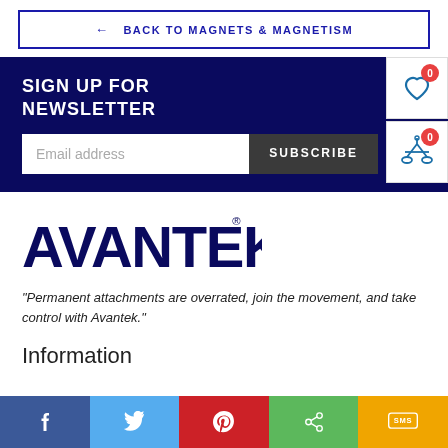← BACK TO MAGNETS & MAGNETISM
SIGN UP FOR NEWSLETTER
Email address
SUBSCRIBE
[Figure (logo): AVANTEK logo in dark navy blue bold lettering with registered trademark symbol]
"Permanent attachments are overrated, join the movement, and take control with Avantek."
Information
[Figure (infographic): Social sharing bar with Facebook, Twitter, Pinterest, Share, and SMS buttons in colored panels]